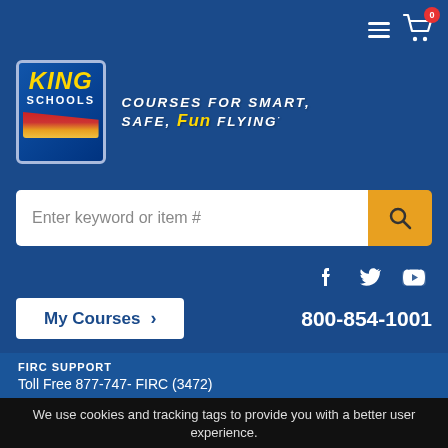[Figure (logo): King Schools logo with yellow KING text, SCHOOLS text, and colored stripe]
Courses for Smart, Safe, Fun Flying
Enter keyword or item #
My Courses
800-854-1001
FIRC SUPPORT
Toll Free 877-747- FIRC (3472)
We use cookies and tracking tags to provide you with a better user experience.
OK
Our Privacy Policy